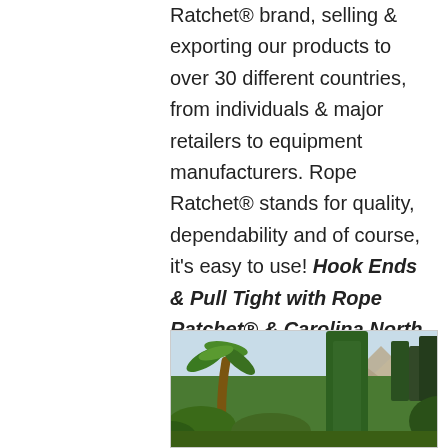Ratchet® brand, selling & exporting our products to over 30 different countries, from individuals & major retailers to equipment manufacturers. Rope Ratchet® stands for quality, dependability and of course, it's easy to use! Hook Ends & Pull Tight with Rope Ratchet® & Carolina North Manufacturing.
[Figure (photo): Outdoor landscape photo showing palm trees, large green tropical plants, mountains in the background, under a light blue sky]